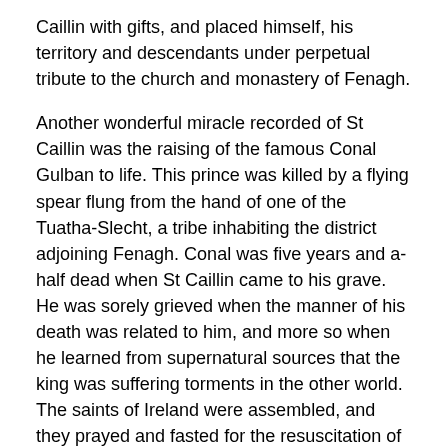Caillin with gifts, and placed himself, his territory and descendants under perpetual tribute to the church and monastery of Fenagh.
Another wonderful miracle recorded of St Caillin was the raising of the famous Conal Gulban to life. This prince was killed by a flying spear flung from the hand of one of the Tuatha-Slecht, a tribe inhabiting the district adjoining Fenagh. Conal was five years and a-half dead when St Caillin came to his grave. He was sorely grieved when the manner of his death was related to him, and more so when he learned from supernatural sources that the king was suffering torments in the other world. The saints of Ireland were assembled, and they prayed and fasted for the resuscitation of Conal. God heard their petitions, and the king was restored to life, and baptised in the famous bell of Clog-na Righ, which still exists in the church of Foxfield, near Fenagh, county Leitrim.